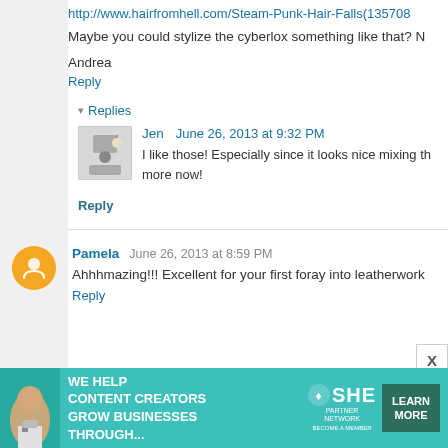http://www.hairfromhell.com/Steam-Punk-Hair-Falls(135708...
Maybe you could stylize the cyberlox something like that? N...
Andrea
Reply
▾ Replies
Jen   June 26, 2013 at 9:32 PM
I like those! Especially since it looks nice mixing th... more now!
Reply
Pamela   June 26, 2013 at 8:59 PM
Ahhhmazing!!! Excellent for your first foray into leatherwork...
Reply
[Figure (infographic): Advertisement banner: SHE Partner Network - We help content creators grow businesses through... with a Learn More button]